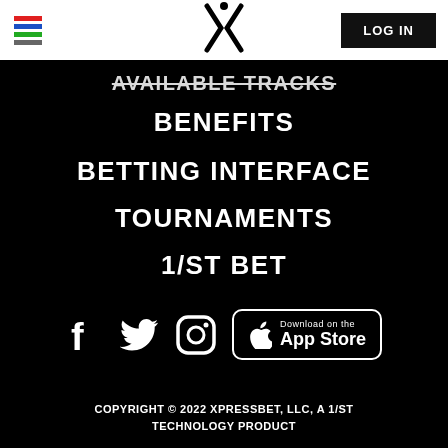LOG IN
AVAILABLE TRACKS
BENEFITS
BETTING INTERFACE
TOURNAMENTS
1/ST BET
[Figure (logo): Social media icons: Facebook, Twitter, Instagram; Download on the App Store button]
COPYRIGHT © 2022 XPRESSBET, LLC, A 1/ST TECHNOLOGY PRODUCT